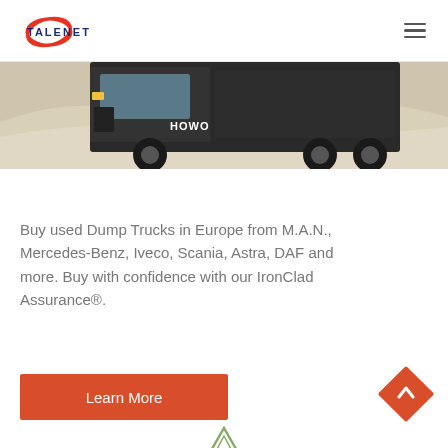TALENET
[Figure (photo): Partial view of a HOWO dump truck on sandy/desert terrain, showing the front and wheels of the truck.]
Buy used Dump Trucks in Europe from M.A.N., Mercedes-Benz, Iveco, Scania, Astra, DAF and more. Buy with confidence with our IronClad Assurance®.
[Figure (other): Orange diamond-shaped scroll-to-top button with an upward arrow chevron.]
[Figure (other): Partially visible element at the bottom center of the page.]